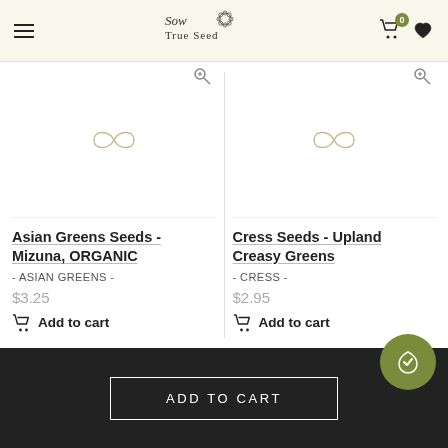Sow True Seed — navigation header with hamburger menu, logo, cart (0), and wishlist
[Figure (illustration): Product image placeholder with infinity/loading symbol for Asian Greens Seeds - Mizuna, ORGANIC]
Asian Greens Seeds - Mizuna, ORGANIC
- ASIAN GREENS -
$3.25
Add to cart
[Figure (illustration): Product image placeholder with infinity/loading symbol for Cress Seeds - Upland Creasy Greens]
Cress Seeds - Upland Creasy Greens
- CRESS -
$2.95
Add to cart
ADD TO CART